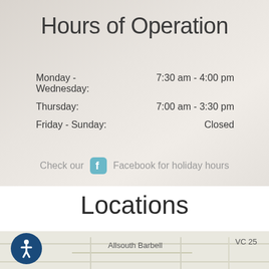Hours of Operation
| Day | Hours |
| --- | --- |
| Monday - Wednesday: | 7:30 am - 4:00 pm |
| Thursday: | 7:00 am - 3:30 pm |
| Friday - Sunday: | Closed |
Check our Facebook for holiday hours
Locations
[Figure (map): Map showing Allsouth Barbell location with VC 25 label and zoom controls]